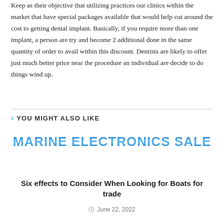Keep as their objective that utilizing practices our clinics within the market that have special packages available that would help cut around the cost to getting dental implant. Basically, if you require more than one implant, a person are try and become 2 additional done in the same quantity of order to avail within this discount. Dentists are likely to offer just much better price near the procedure an individual are decide to do things wind up.
YOU MIGHT ALSO LIKE
[Figure (other): Marine Electronics Sale banner text in bold blue gradient lettering]
Six effects to Consider When Looking for Boats for trade
June 22, 2022